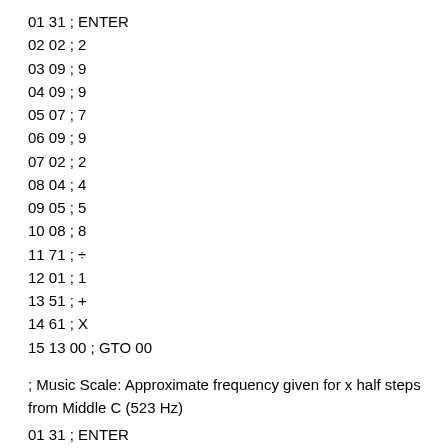01 31 ; ENTER
02 02 ; 2
03 09 ; 9
04 09 ; 9
05 07 ; 7
06 09 ; 9
07 02 ; 2
08 04 ; 4
09 05 ; 5
10 08 ; 8
11 71 ; ÷
12 01 ; 1
13 51 ; +
14 61 ; X
15 13 00 ; GTO 00
; Music Scale: Approximate frequency given for x half steps from Middle C (523 Hz)
01 31 ; ENTER
02 02 ; 2
03 31 ; ENTER
04 01 ; 1